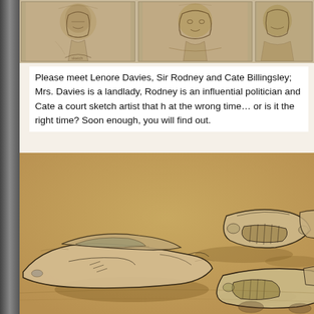[Figure (illustration): Top strip with two sepia-toned sketch portraits of human faces/busts]
Please meet Lenore Davies, Sir Rodney and Cate Billingsley; Mrs. Davies is a landlady, Rodney is an influential politician and Cate a court sketch artist that h at the wrong time… or is it the right time? Soon enough, you will find out.
[Figure (illustration): Sepia-toned concept art sketches of multiple futuristic car designs on a sandy ground background]